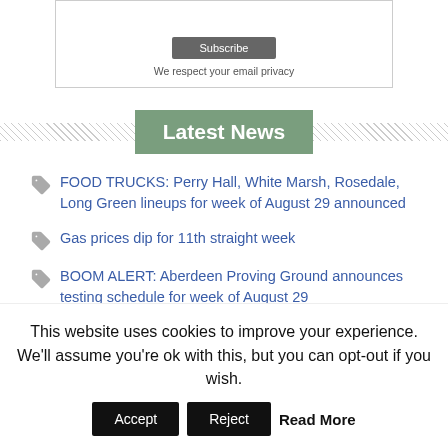We respect your email privacy
Latest News
FOOD TRUCKS: Perry Hall, White Marsh, Rosedale, Long Green lineups for week of August 29 announced
Gas prices dip for 11th straight week
BOOM ALERT: Aberdeen Proving Ground announces testing schedule for week of August 29
This website uses cookies to improve your experience. We'll assume you're ok with this, but you can opt-out if you wish.
Accept  Reject  Read More